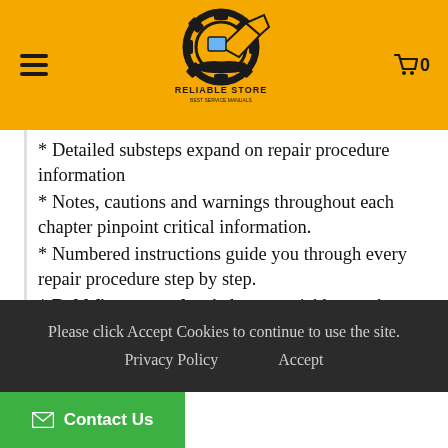RELIABLE STORE - Best Service Manuals
* Detailed substeps expand on repair procedure information
* Notes, cautions and warnings throughout each chapter pinpoint critical information.
* Numbered instructions guide you through every repair procedure step by step.
* Bold figure number help you quickly match illustrations with instructions.
* Detailed illustrations, drawings and photos guide you through every procedure
Please click Accept Cookies to continue to use the site. | Privacy Policy | Accept | Contact Us